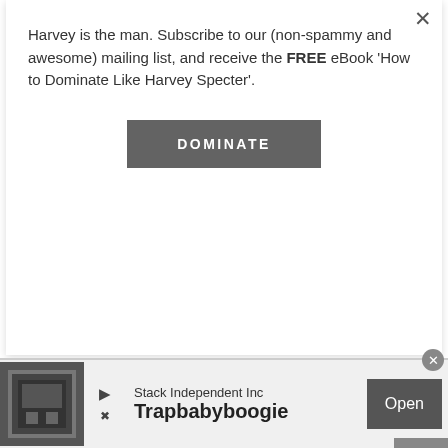Harvey is the man. Subscribe to our (non-spammy and awesome) mailing list, and receive the FREE eBook 'How to Dominate Like Harvey Specter'.
[Figure (other): Dark grey button labeled DOMINATE in white bold uppercase letters]
in control, people will treat you as such.
#2
[Figure (other): Grey back-to-top arrow button in bottom right]
www.HeroAndVillainStyle.com
[Figure (other): Advertisement banner: Stack Independent Inc, Trapbabyboogie app with Open button]